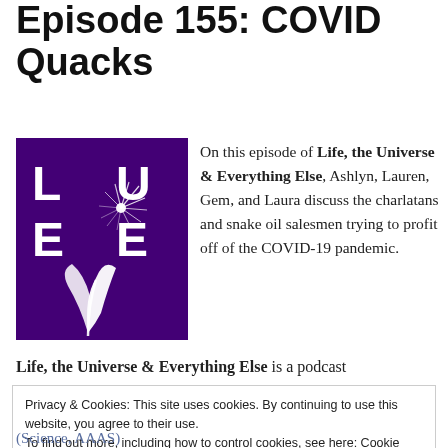Episode 155: COVID Quacks
[Figure (logo): LUEE podcast logo — purple square with white stylized comet/leaf plant and letters L, U, E, E]
On this episode of Life, the Universe & Everything Else, Ashlyn, Lauren, Gem, and Laura discuss the charlatans and snake oil salesmen trying to profit off of the COVID-19 pandemic.
Life, the Universe & Everything Else is a podcast
Privacy & Cookies: This site uses cookies. By continuing to use this website, you agree to their use.
To find out more, including how to control cookies, see here: Cookie Policy
Close and accept
(Science, AAAS)